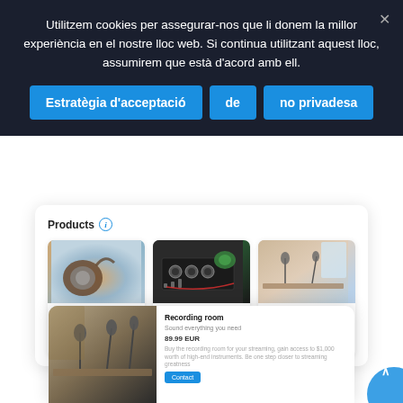Utilitzem cookies per assegurar-nos que li donem la millor experiència en el nostre lloc web. Si continua utilitzant aquest lloc, assumirem que està d'acord amb ell.
Estratègia d'acceptació
de
no privadesa
Products
[Figure (photo): Headphones (noise cancelling) product photo - brown leather headphones on a reflective surface]
59.99 EUR
Headphones (noise cancelling)
[Figure (photo): Mix table product photo - Pioneer DJ controller with green headphones]
359.99 EUR
Mix table
[Figure (photo): Recording room product photo - studio setup with microphones on stands]
89.99 EUR
Recording room
[Figure (photo): Recording room popup detail - large studio photo with microphones and equipment]
Recording room
Sound everything you need
89.99 EUR
Buy the recording room for your streaming, gain access to $1,000 worth of
high-end instruments. Be one step closer to streaming greatness